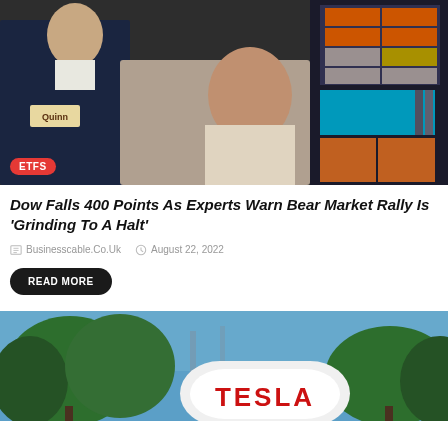[Figure (photo): Stock exchange trading floor with traders at monitors displaying market data, orange and cyan screens visible in background]
Dow Falls 400 Points As Experts Warn Bear Market Rally Is 'Grinding To A Halt'
Businesscable.Co.Uk   August 22, 2022
READ MORE
[Figure (photo): Tesla logo sign on white pillar with trees and blue sky in background]